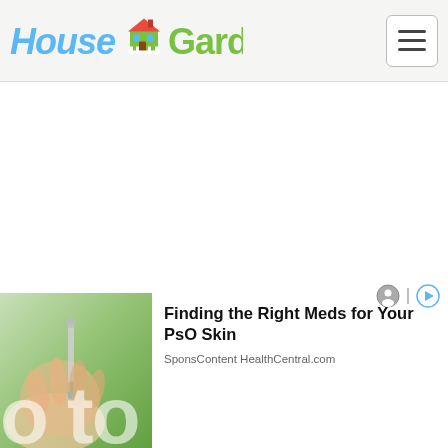[Figure (logo): House & Garden website logo with blue 'House' text, garden house icon, and green 'Garden' text]
[Figure (other): Hamburger/menu button in top right corner]
[Figure (other): Large white blank content area in the middle of the page]
[Figure (other): Ad attribution icons - person icon and play/forward icon]
[Figure (photo): Photo of hands holding a dropper/medicine with green background]
Finding the Right Meds for Your PsO Skin
SponsContent HealthCentral.com
o to Grow